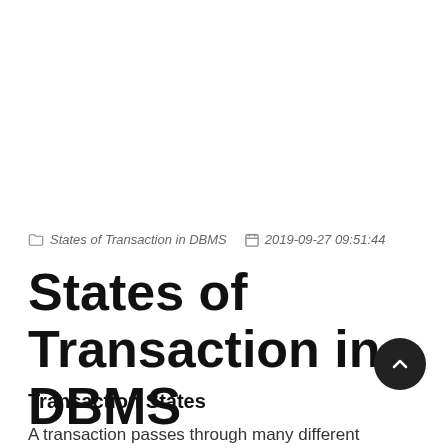States of Transaction in DBMS   2019-09-27 09:51:44
States of Transaction in DBMS
Transaction States
A transaction passes through many different